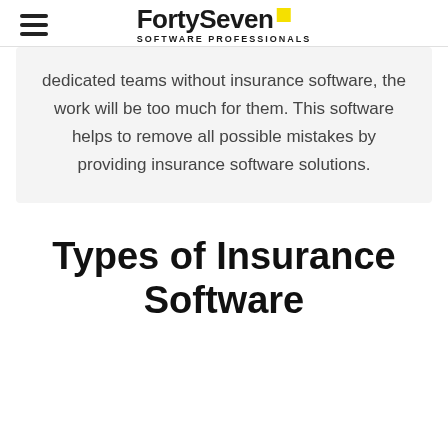FortySeven SOFTWARE PROFESSIONALS
dedicated teams without insurance software, the work will be too much for them. This software helps to remove all possible mistakes by providing insurance software solutions.
Types of Insurance Software